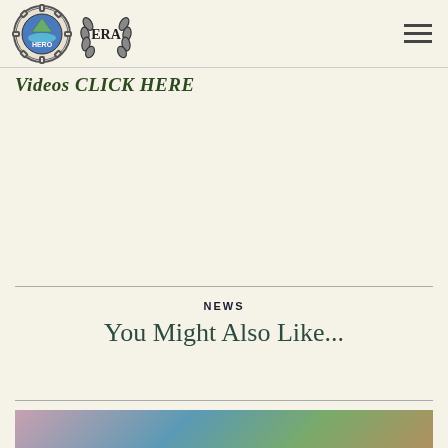HERO ERA logo header with hamburger menu
Videos CLICK HERE
NEWS
You Might Also Like...
[Figure (photo): Landscape photo of a road or waterway with vegetation, partially visible at the bottom of the page]